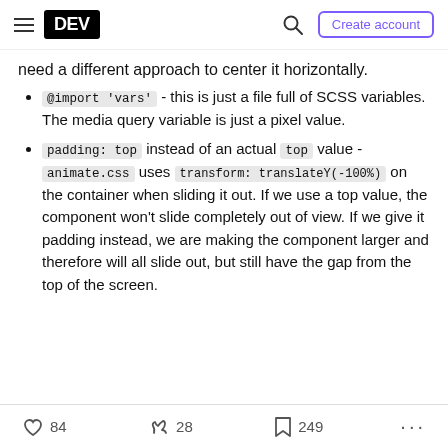DEV | Create account
need a different approach to center it horizontally.
@import 'vars' - this is just a file full of SCSS variables. The media query variable is just a pixel value.
padding: top instead of an actual top value - animate.css uses transform: translateY(-100%) on the container when sliding it out. If we use a top value, the component won't slide completely out of view. If we give it padding instead, we are making the component larger and therefore will all slide out, but still have the gap from the top of the screen.
84 reactions  28 unicorns  249 bookmarks